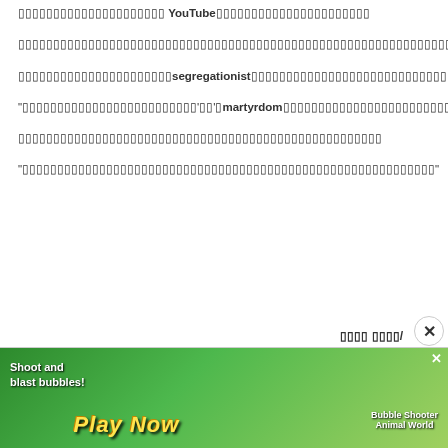▯▯▯▯▯▯▯▯▯▯▯▯▯▯▯▯▯▯▯▯▯ YouTube▯▯▯▯▯▯▯▯▯▯▯▯▯▯▯▯▯▯▯▯▯▯
▯▯▯▯▯▯▯▯▯▯▯▯▯▯▯▯▯▯▯▯▯▯▯▯▯▯▯▯▯▯▯▯▯▯▯▯▯▯▯▯▯▯▯▯▯▯▯▯▯▯▯▯▯▯▯▯▯▯▯▯▯▯▯▯▯▯▯▯▯▯▯▯▯▯▯▯▯▯▯▯▯▯▯▯▯▯▯▯▯▯▯▯▯▯▯▯▯▯▯▯▯▯▯▯▯▯▯▯▯▯
▯▯▯▯▯▯▯▯▯▯▯▯▯▯▯▯▯▯▯▯▯▯segregationist▯▯▯▯▯▯▯▯▯▯▯▯▯▯▯▯▯▯▯▯▯▯▯▯▯▯▯▯▯▯▯▯▯▯▯▯▯▯▯▯▯▯▯▯▯▯▯▯▯▯▯▯▯
“▯▯▯▯▯▯▯▯▯▯▯▯▯▯▯▯▯▯▯▯▯▯▯▯▯'▯▯'▯martyrdom▯▯▯▯▯▯▯▯▯▯▯▯▯▯▯▯▯▯▯▯▯▯▯▯▯▯▯▯▯▯▯▯▯▯▯▯'▯▯▯▯▯▯'▯▯▯▯▯▯▯▯▯▯▯▯▯▯▯▯'kafirs'”▯
▯▯▯▯▯▯▯▯▯▯▯▯▯▯▯▯▯▯▯▯▯▯▯▯▯▯▯▯▯▯▯▯▯▯▯▯▯▯▯▯▯▯▯▯▯▯▯▯▯▯▯▯
“▯▯▯▯▯▯▯▯▯▯▯▯▯▯▯▯▯▯▯▯▯▯▯▯▯▯▯▯▯▯▯▯▯▯▯▯▯▯▯▯▯▯▯▯▯▯▯▯▯▯▯▯▯▯▯▯▯▯▯”
▯▯▯▯ ▯▯▯▯/
[Figure (screenshot): Mobile game advertisement banner: 'Shoot and blast bubbles! Play Now' with colorful bubble shooter game visuals and 'Bubble Shooter Animal World' text on the right side. Green gradient background with cartoon animals.]